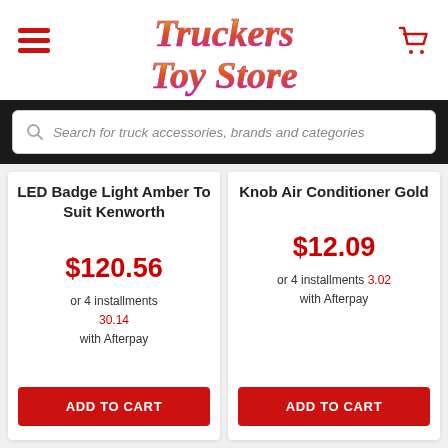Truckers Toy Store
Search for truck accessories, brands and categories
LED Badge Light Amber To Suit Kenworth
$120.56
or 4 installments 30.14 with Afterpay
ADD TO CART
Knob Air Conditioner Gold
$12.09
or 4 installments 3.02 with Afterpay
ADD TO CART